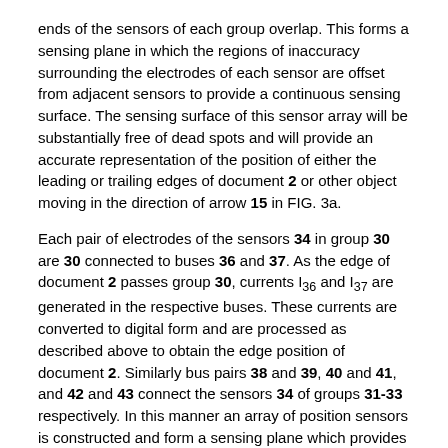ends of the sensors of each group overlap. This forms a sensing plane in which the regions of inaccuracy surrounding the electrodes of each sensor are offset from adjacent sensors to provide a continuous sensing surface. The sensing surface of this sensor array will be substantially free of dead spots and will provide an accurate representation of the position of either the leading or trailing edges of document 2 or other object moving in the direction of arrow 15 in FIG. 3a.
Each pair of electrodes of the sensors 34 in group 30 are 30 connected to buses 36 and 37. As the edge of document 2 passes group 30, currents I36 and I37 are generated in the respective buses. These currents are converted to digital form and are processed as described above to obtain the edge position of document 2. Similarly bus pairs 38 and 39, 40 and 41, and 42 and 43 connect the sensors 34 of groups 31-33 respectively. In this manner an array of position sensors is constructed and form a sensing plane which provides data from which an accurate reading of the position of the document 2 can be obtained. As shown in FIG. 3b, array 1 may be formed on a transparent substrate 44 to allow light radiated from below...